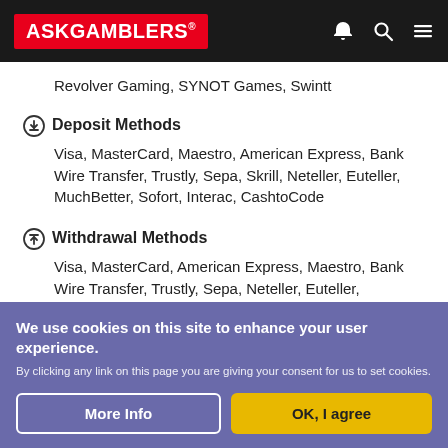ASKGAMBLERS
Revolver Gaming, SYNOT Games, Swintt
Deposit Methods
Visa, MasterCard, Maestro, American Express, Bank Wire Transfer, Trustly, Sepa, Skrill, Neteller, Euteller, MuchBetter, Sofort, Interac, CashtoCode
Withdrawal Methods
Visa, MasterCard, American Express, Maestro, Bank Wire Transfer, Trustly, Sepa, Neteller, Euteller, MuchBetter, Skrill, Sofort, Interac, CashtoCode
Withdrawal Times
EWallets: 0-24 hours
We use cookies on this site to enhance your user experience.
By clicking any link on this page you are giving your consent for us to set cookies.